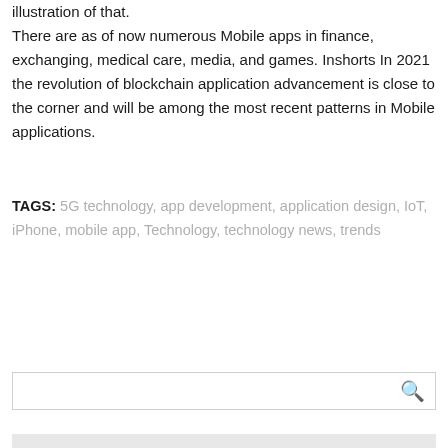illustration of that. There are as of now numerous Mobile apps in finance, exchanging, medical care, media, and games. Inshorts In 2021 the revolution of blockchain application advancement is close to the corner and will be among the most recent patterns in Mobile applications.
TAGS: 5G technology, app development, application design, IoT, iPhone, mobile app, Technology, technology news, trends